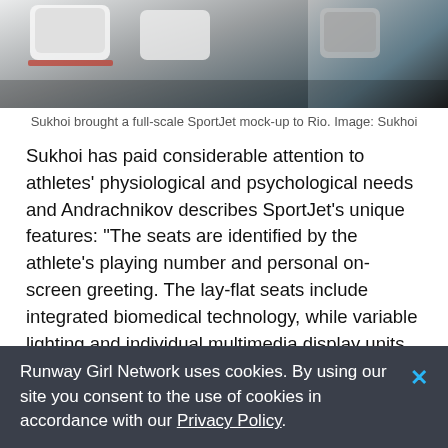[Figure (photo): Interior cabin photo of Sukhoi SportJet aircraft showing lay-flat business class seats in a dark cabin environment.]
Sukhoi brought a full-scale SportJet mock-up to Rio. Image: Sukhoi
Sukhoi has paid considerable attention to athletes’ physiological and psychological needs and Andrachnikov describes SportJet’s unique features: “The seats are identified by the athlete’s playing number and personal on-screen greeting. The lay-flat seats include integrated biomedical technology, while variable lighting and individual multimedia display units with special content optimise travelling time. The biomedical devices are integrated in the armrests, backrest and under the seat.
“The biomedical devices are able to… [truncated]
Runway Girl Network uses cookies. By using our site you consent to the use of cookies in accordance with our Privacy Policy.